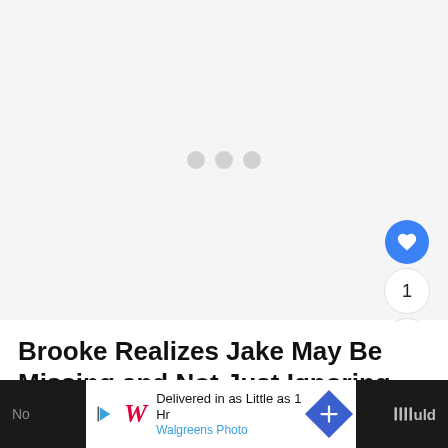[Figure (other): Large grey placeholder ad area with three light grey dots centered, indicating loading or an advertisement slot]
Brooke Realizes Jake May Be Missing and Not Just Ignoring Her Texts
[Figure (other): Bottom advertisement banner for Walgreens Photo: 'Delivered in as Little as 1 Hr' with Walgreens logo and navigation arrow icon. Dark bar on sides with partial text visible.]